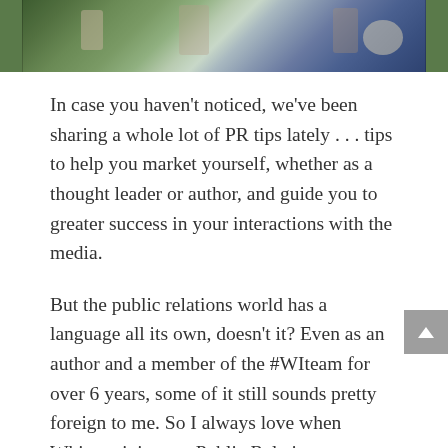[Figure (photo): A cropped outdoor photo showing people and a dog on grass, with muted green and blue tones. Only the lower portion of the photo is visible at the top of the page.]
In case you haven't noticed, we've been sharing a whole lot of PR tips lately . . . tips to help you market yourself, whether as a thought leader or author, and guide you to greater success in your interactions with the media.
But the public relations world has a language all its own, doesn't it? Even as an author and a member of the #WIteam for over 6 years, some of it still sounds pretty foreign to me. So I always love when Whitney joins our Public Relations